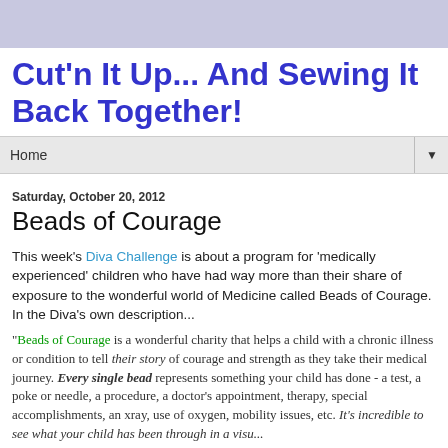Cut'n It Up... And Sewing It Back Together!
Cut'n It Up... And Sewing It Back Together!
Home
Saturday, October 20, 2012
Beads of Courage
This week's Diva Challenge is about a program for 'medically experienced' children who have had way more than their share of exposure to the wonderful world of Medicine called Beads of Courage. In the Diva's own description...
"Beads of Courage is a wonderful charity that helps a child with a chronic illness or condition to tell their story of courage and strength as they take their medical journey. Every single bead represents something your child has done - a test, a poke or needle, a procedure, a doctor's appointment, therapy, special accomplishments, an xray, use of oxygen, mobility issues, etc. It's incredible to see what your child has been through in a visu...